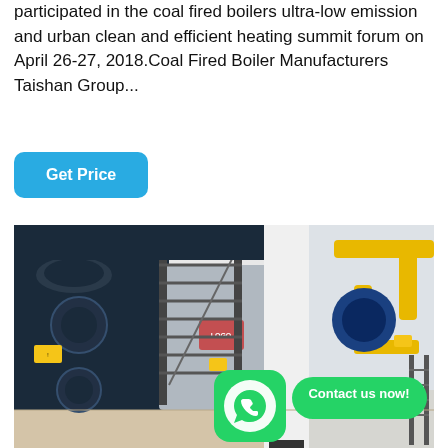participated in the coal fired boilers ultra-low emission and urban clean and efficient heating summit forum on April 26-27, 2018.Coal Fired Boiler Manufacturers Taishan Group...
Get Price
[Figure (photo): Industrial boiler room with large coal-fired boilers, metal staircases, yellow overhead piping, and a WhatsApp contact overlay button reading 'Contact us now!']